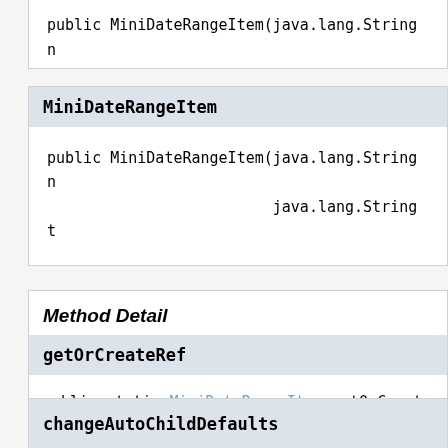public MiniDateRangeItem(java.lang.String n
MiniDateRangeItem
public MiniDateRangeItem(java.lang.String n
                         java.lang.String t
Method Detail
getOrCreateRef
public static MiniDateRangeItem getOrCreate
changeAutoChildDefaults